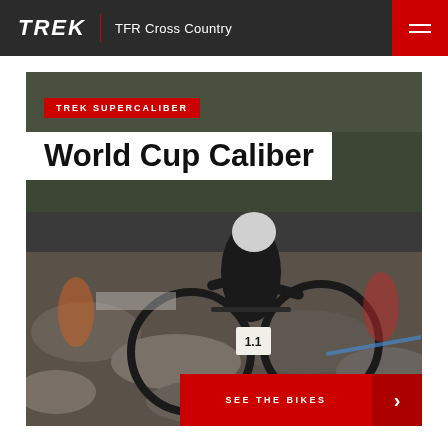TREK | TFR Cross Country
[Figure (photo): Mountain bike cross country race photo showing a cyclist riding over rocky terrain with other riders in background]
TREK SUPERCALIBER
World Cup Caliber
SEE THE BIKES